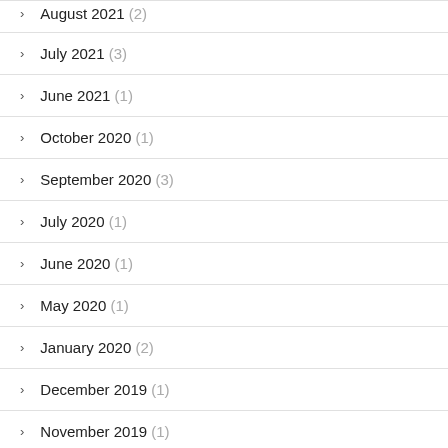August 2021 (2)
July 2021 (3)
June 2021 (1)
October 2020 (1)
September 2020 (3)
July 2020 (1)
June 2020 (1)
May 2020 (1)
January 2020 (2)
December 2019 (1)
November 2019 (1)
October 2019 (1)